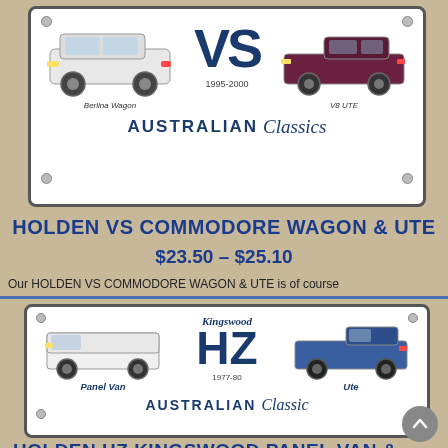[Figure (illustration): Australian Classics license plate style image showing Holden VS Commodore Berlina Wagon on the left, VS text in center, V8 UTE on the right, with '1995-2000' year range and 'AUSTRALIAN Classics' branding at the bottom]
HOLDEN VS COMMODORE WAGON & UTE
$23.50 – $25.10
Our HOLDEN VS COMMODORE WAGON & UTE is of course
[Figure (illustration): Australian Classic license plate style image showing Holden HZ Kingswood Panel Van on the left, large 'HZ' text in center with 'Kingswood' above and '1977-80' below, Ute on the right, with 'AUSTRALIAN Classic' branding at the bottom]
HOLDEN HZ KINGSWOOD PANEL VAN & UTE